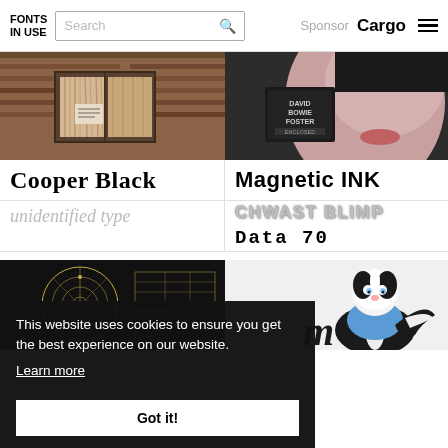FONTS IN USE | Search | Sponsor Cargo ☰
[Figure (photo): Left: photo of a brick building with curtained windows. Right: close-up photo of a person's face with a small book/poster showing 'DAVID BOWIE FOSTER ENCLOSED'.]
Cooper Black
Magnetic INK
unidentified type
CHWAST BLIMP
Data 70
[Figure (photo): Left: dark circular map/diagram on black background. Right: cartoon illustration of a skunk character wearing a blue shirt.]
This website uses cookies to ensure you get the best experience on our website. Learn more
Got it!